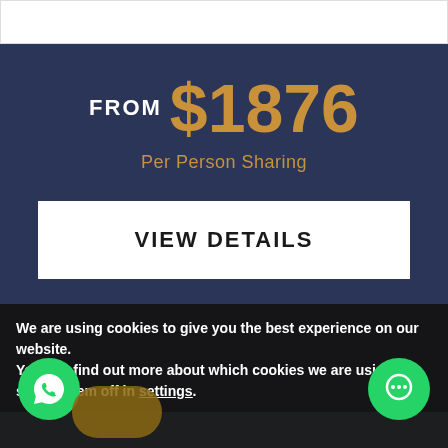FROM $1876
Per Person Sharing
VIEW DETAILS
[Figure (photo): Scenic ocean and mountain landscape photo]
We are using cookies to give you the best experience on our website.
You can find out more about which cookies we are using or switch them off in settings.